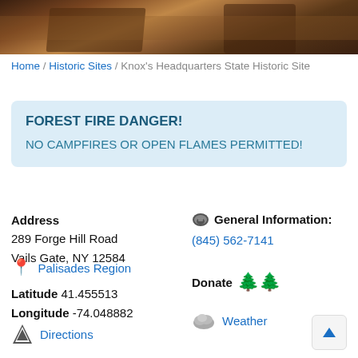[Figure (photo): Photo of wooden furniture on hardwood floor, partial view showing desk and chair.]
Home / Historic Sites / Knox's Headquarters State Historic Site
FOREST FIRE DANGER!
NO CAMPFIRES OR OPEN FLAMES PERMITTED!
Address
289 Forge Hill Road
Vails Gate, NY 12584
Palisades Region
Latitude 41.455513
Longitude -74.048882
Directions
General Information:
(845) 562-7141
Donate
Weather